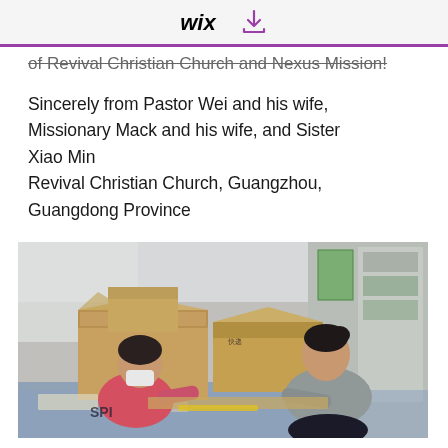WiX [download icon]
of Revival Christian Church and Nexus Mission!
Sincerely from Pastor Wei and his wife, Missionary Mack and his wife, and Sister Xiao Min
Revival Christian Church, Guangzhou, Guangdong Province
[Figure (photo): Two women working with cardboard boxes in a room, unpacking or packing boxes on the floor.]